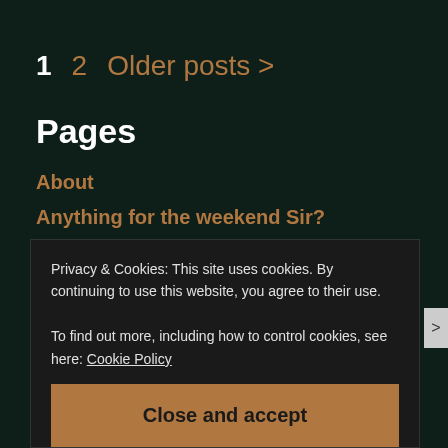1   2   Older posts >
Pages
About
Anything for the weekend Sir?
Copyright
Privacy & Cookies: This site uses cookies. By continuing to use this website, you agree to their use.
To find out more, including how to control cookies, see here: Cookie Policy
Close and accept